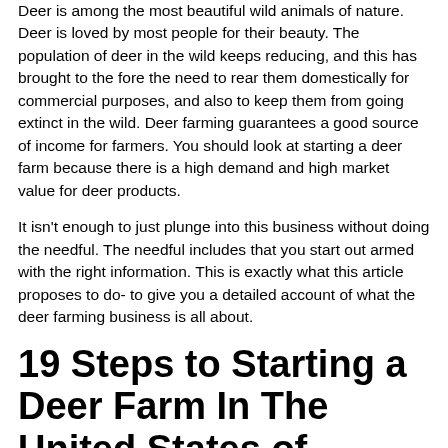Deer is among the most beautiful wild animals of nature. Deer is loved by most people for their beauty. The population of deer in the wild keeps reducing, and this has brought to the fore the need to rear them domestically for commercial purposes, and also to keep them from going extinct in the wild. Deer farming guarantees a good source of income for farmers. You should look at starting a deer farm because there is a high demand and high market value for deer products.
It isn't enough to just plunge into this business without doing the needful. The needful includes that you start out armed with the right information. This is exactly what this article proposes to do- to give you a detailed account of what the deer farming business is all about.
19 Steps to Starting a Deer Farm In The United States of America
Table of Content [show]